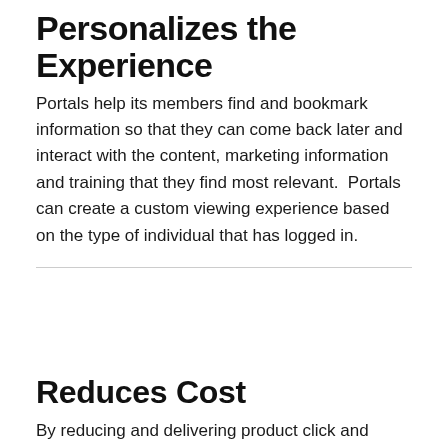Personalizes the Experience
Portals help its members find and bookmark information so that they can come back later and interact with the content, marketing information and training that they find most relevant.  Portals can create a custom viewing experience based on the type of individual that has logged in.
Reduces Cost
By reducing and delivering product click and...